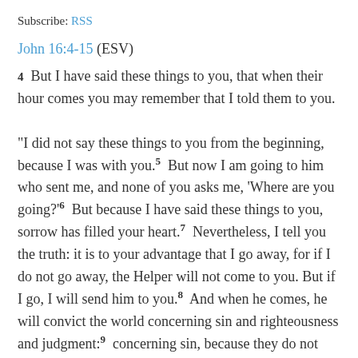Subscribe: RSS
John 16:4-15 (ESV)
4 But I have said these things to you, that when their hour comes you may remember that I told them to you. “I did not say these things to you from the beginning, because I was with you. 5 But now I am going to him who sent me, and none of you asks me, ‘Where are you going?’ 6 But because I have said these things to you, sorrow has filled your heart. 7 Nevertheless, I tell you the truth: it is to your advantage that I go away, for if I do not go away, the Helper will not come to you. But if I go, I will send him to you. 8 And when he comes, he will convict the world concerning sin and righteousness and judgment: 9 concerning sin, because they do not believe in me; 10 concerning righteousness, because I go to the